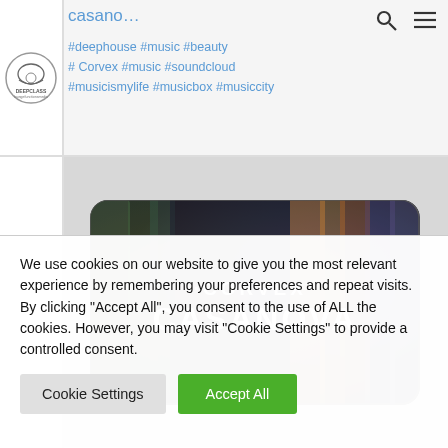casano... #deephouse #music #beauty #Corvex #music #soundcloud #musicismylife #musicbox #musiccity
[Figure (photo): Album cover card for Corvex Casanova — a dark, colorful blurred background with the text '·CORVEX·' and 'CASANOVA' in white bold lettering, rounded rectangle card shape]
We use cookies on our website to give you the most relevant experience by remembering your preferences and repeat visits. By clicking "Accept All", you consent to the use of ALL the cookies. However, you may visit "Cookie Settings" to provide a controlled consent.
Cookie Settings | Accept All